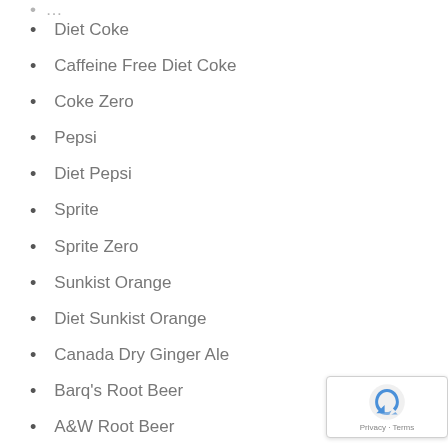Diet Coke
Caffeine Free Diet Coke
Coke Zero
Pepsi
Diet Pepsi
Sprite
Sprite Zero
Sunkist Orange
Diet Sunkist Orange
Canada Dry Ginger Ale
Barq's Root Beer
A&W Root Beer
A&W Diet Root Beer